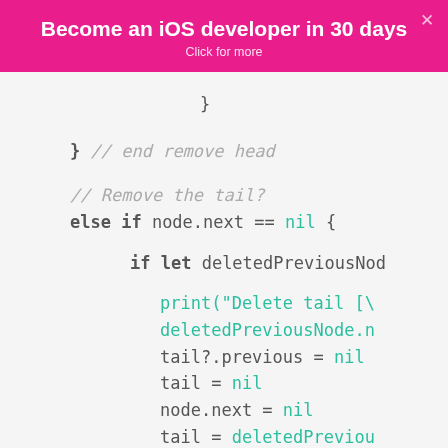Become an iOS developer in 30 days
Click for more
}
} // end remove head
// Remove the tail?
else if node.next == nil {
    if let deletedPreviousNod
        print("Delete tail [\
        deletedPreviousNode.n
        tail?.previous = nil
        tail = nil
        node.next = nil
        tail = deletedPreviou